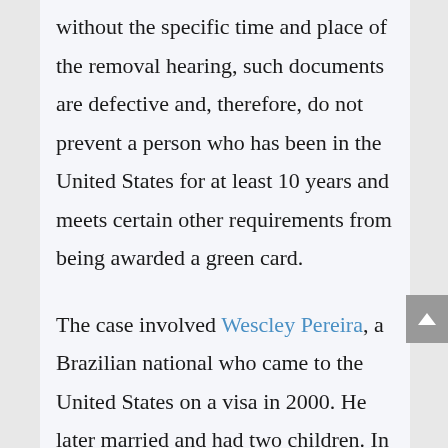without the specific time and place of the removal hearing, such documents are defective and, therefore, do not prevent a person who has been in the United States for at least 10 years and meets certain other requirements from being awarded a green card.
The case involved Wescley Pereira, a Brazilian national who came to the United States on a visa in 2000. He later married and had two children. In 2006, ICE placed